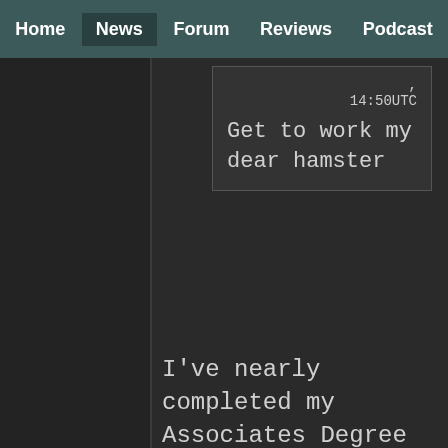Home | News | Forum | Reviews | Podcast
14:50UTC
Get to work my dear hamster
I've nearly completed my Associates Degree in Business. I've written soo many business oriented papers recently that I'm completely burned out. So, no thanks, Iga.